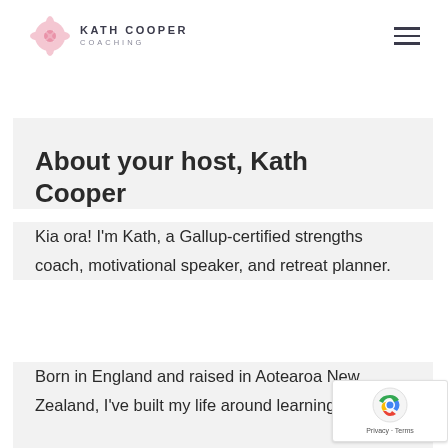KATH COOPER COACHING
About your host, Kath Cooper
Kia ora! I'm Kath, a Gallup-certified strengths coach, motivational speaker, and retreat planner.
Born in England and raised in Aotearoa New Zealand, I've built my life around learning,